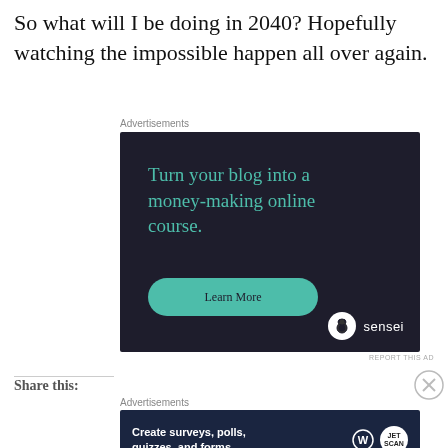So what will I be doing in 2040? Hopefully watching the impossible happen all over again.
Advertisements
[Figure (infographic): Advertisement for Sensei: 'Turn your blog into a money-making online course.' with a 'Learn More' button and Sensei logo on dark background.]
REPORT THIS AD
Share this:
Advertisements
[Figure (infographic): Advertisement: 'Create surveys, polls, quizzes, and forms.' with WordPress and Jetpack logos on dark background.]